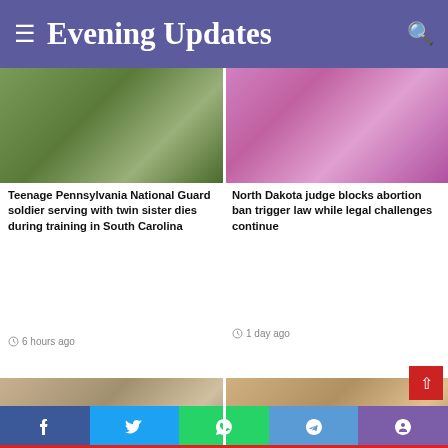Evening Updates
[Figure (photo): Two soldiers in camouflage military uniforms and gear standing outdoors with trees in background]
Teenage Pennsylvania National Guard soldier serving with twin sister dies during training in South Carolina
6 hours ago
[Figure (photo): Crowd of protesters holding signs at an abortion rights rally]
North Dakota judge blocks abortion ban trigger law while legal challenges continue
1 day ago
[Figure (photo): President Biden speaking at a podium with American flag behind him]
[Figure (photo): President Biden speaking in an ornate room]